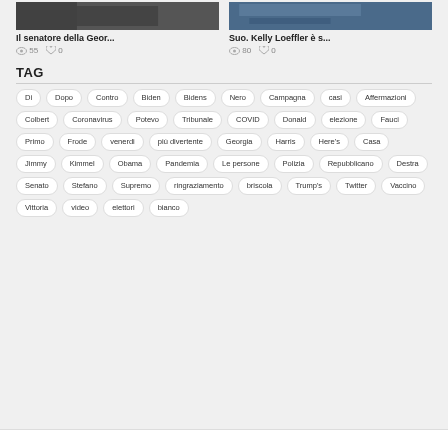[Figure (photo): Thumbnail image of a political figure, dark tones]
[Figure (photo): Thumbnail image with blue/news broadcast background]
Il senatore della Geor...
Suo. Kelly Loeffler è s...
55 views, 0 likes
80 views, 0 likes
TAG
Di
Dopo
Contro
Biden
Bidens
Nero
Campagna
casi
Affermazioni
Colbert
Coronavirus
Potevo
Tribunale
COVID
Donald
elezione
Fauci
Primo
Frode
venerdi
più divertente
Georgia
Harris
Here's
Casa
Jimmy
Kimmel
Obama
Pandemia
Le persone
Polizia
Repubblicano
Destra
Senato
Stefano
Supremo
ringraziamento
briscola
Trump's
Twitter
Vaccino
Vittoria
video
elettori
bianco